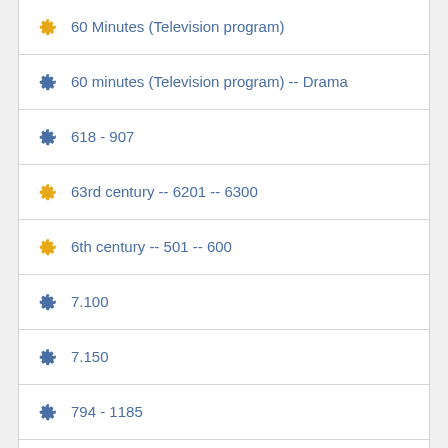60 Minutes (Television program)
60 minutes (Television program) -- Drama
618 - 907
63rd century -- 6201 -- 6300
6th century -- 501 -- 600
7.100
7.150
794 - 1185
7th century -- 601 -- 700
87th Precinct (Imaginary place)
87th Precinct (Imaginary place) -- Drama